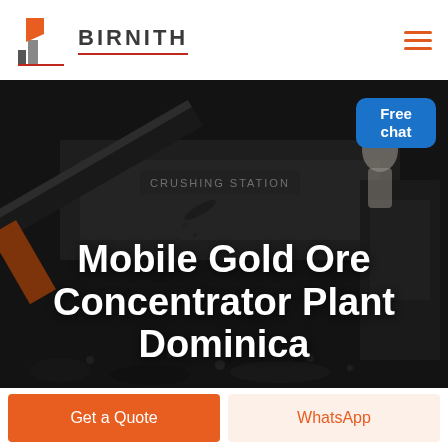BIRNITH
[Figure (photo): Dark industrial background showing a mobile crushing station with machinery, conveyor belts, and coal/ore material being processed. Text 'CRUSHING STATION' visible on the equipment.]
Mobile Gold Ore Concentrator Plant Dominica
Free chat
Get a Quote
WhatsApp